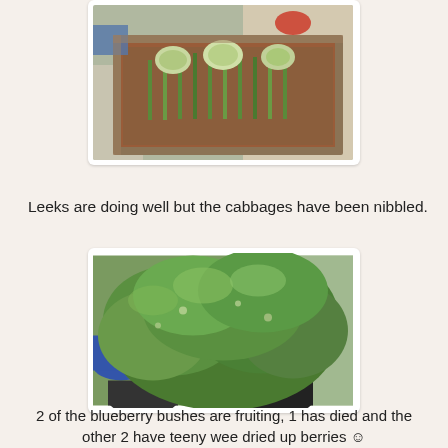[Figure (photo): Raised garden bed with wooden frame showing leeks and cabbage plants growing in brown soil, with gravel path and brick wall visible in background]
Leeks are doing well but the cabbages have been nibbled.
[Figure (photo): Blueberry bushes with lush green foliage growing in large dark containers, showing dense leafy growth]
2 of the blueberry bushes are fruiting, 1 has died and the other 2 have teeny wee dried up berries ☺